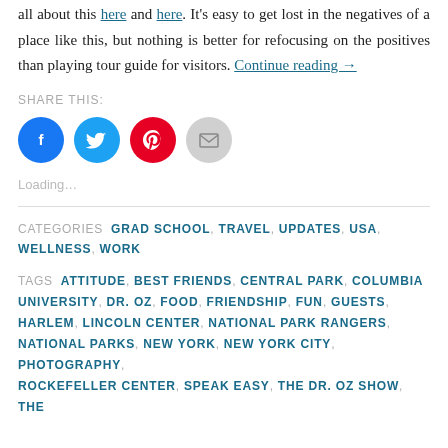all about this here and here. It's easy to get lost in the negatives of a place like this, but nothing is better for refocusing on the positives than playing tour guide for visitors. Continue reading →
SHARE THIS:
[Figure (infographic): Four social share buttons: Facebook (blue circle with f icon), Twitter (light blue circle with bird icon), Pinterest (red circle with P icon), Email (gray circle with envelope icon)]
Loading…
CATEGORIES  GRAD SCHOOL, TRAVEL, UPDATES, USA, WELLNESS, WORK
TAGS  ATTITUDE, BEST FRIENDS, CENTRAL PARK, COLUMBIA UNIVERSITY, DR. OZ, FOOD, FRIENDSHIP, FUN, GUESTS, HARLEM, LINCOLN CENTER, NATIONAL PARK RANGERS, NATIONAL PARKS, NEW YORK, NEW YORK CITY, PHOTOGRAPHY, ROCKEFELLER CENTER, SPEAK EASY, THE DR. OZ SHOW, THE